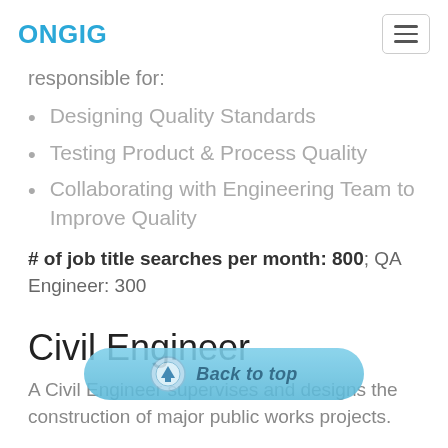ONGIG
responsible for:
Designing Quality Standards
Testing Product & Process Quality
Collaborating with Engineering Team to Improve Quality
# of job title searches per month: 800; QA Engineer: 300
Civil Engineer
A Civil Engineer supervises and designs the construction of major public works projects.